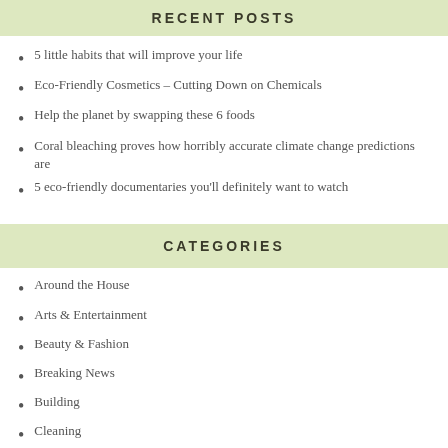RECENT POSTS
5 little habits that will improve your life
Eco-Friendly Cosmetics – Cutting Down on Chemicals
Help the planet by swapping these 6 foods
Coral bleaching proves how horribly accurate climate change predictions are
5 eco-friendly documentaries you'll definitely want to watch
CATEGORIES
Around the House
Arts & Entertainment
Beauty & Fashion
Breaking News
Building
Cleaning
Climate Change
Decorating
Eat Healthy